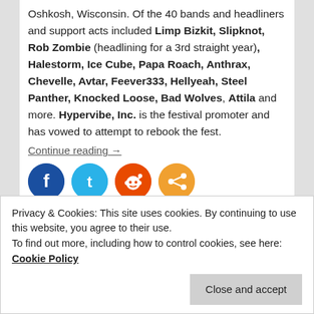Oshkosh, Wisconsin. Of the 40 bands and headliners and support acts included Limp Bizkit, Slipknot, Rob Zombie (headlining for a 3rd straight year), Halestorm, Ice Cube, Papa Roach, Anthrax, Chevelle, Avtar, Feever333, Hellyeah, Steel Panther, Knocked Loose, Bad Wolves, Attila and more. Hypervibe, Inc. is the festival promoter and has vowed to attempt to rebook the fest.
Continue reading →
[Figure (infographic): Social sharing icons: Facebook (dark blue), Twitter (light blue), Reddit (orange-red), Share (orange)]
Posted in News | Tagged All That Remains, Anthrax, Attila, Avatar, Avtar, Bad Omens, Bad Wolves, Bones
Privacy & Cookies: This site uses cookies. By continuing to use this website, you agree to their use. To find out more, including how to control cookies, see here: Cookie Policy
Mice & Men, Otherwise, Papa Roach, Rob Zombie,